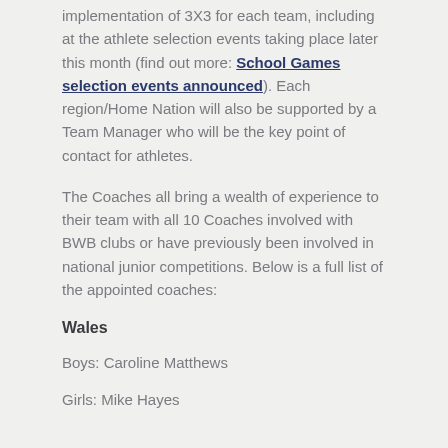implementation of 3X3 for each team, including at the athlete selection events taking place later this month (find out more: School Games selection events announced). Each region/Home Nation will also be supported by a Team Manager who will be the key point of contact for athletes.
The Coaches all bring a wealth of experience to their team with all 10 Coaches involved with BWB clubs or have previously been involved in national junior competitions. Below is a full list of the appointed coaches:
Wales
Boys: Caroline Matthews
Girls: Mike Hayes